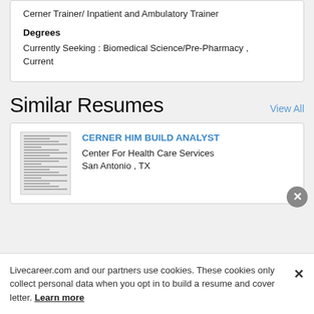Cerner Trainer/ Inpatient and Ambulatory Trainer
Degrees
Currently Seeking : Biomedical Science/Pre-Pharmacy , Current
Similar Resumes
View All
[Figure (other): Thumbnail preview of a resume document]
CERNER HIM BUILD ANALYST
Center For Health Care Services
San Antonio , TX
Livecareer.com and our partners use cookies. These cookies only collect personal data when you opt in to build a resume and cover letter. Learn more